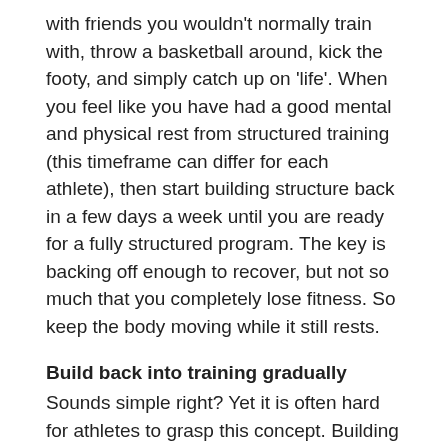with friends you wouldn't normally train with, throw a basketball around, kick the footy, and simply catch up on 'life'. When you feel like you have had a good mental and physical rest from structured training (this timeframe can differ for each athlete), then start building structure back in a few days a week until you are ready for a fully structured program. The key is backing off enough to recover, but not so much that you completely lose fitness. So keep the body moving while it still rests.
Build back into training gradually
Sounds simple right? Yet it is often hard for athletes to grasp this concept. Building gradually into your training allows for your body to adapt to the stressors training (of any level/duration/intensity) places on the body. Base building provides a platform for building up training at a slow and safe rate, which helps decrease the likelihood of injury and burnout. Building up gradually following a